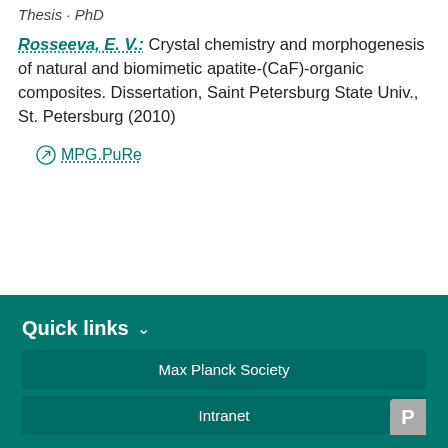Thesis · PhD
Rosseeva, E. V.: Crystal chemistry and morphogenesis of natural and biomimetic apatite-(CaF)-organic composites. Dissertation, Saint Petersburg State Univ., St. Petersburg (2010)
MPG.PuRe
Quick links
Max Planck Society
Intranet